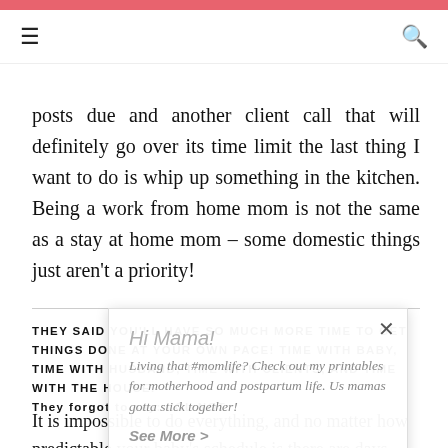≡  🔍
posts due and another client call that will definitely go over its time limit the last thing I want to do is whip up something in the kitchen. Being a work from home mom is not the same as a stay at home mom – some domestic things just aren't a priority!
THEY SAID YOU'LL HAVE SO MUCH MORE TIME TO GET THINGS DONE AT YOUR OWN PACE! TIME WITH BABY, TIME WITH HUSBAND, TIME WITH CLIENTS, AND TIME WITH THE HOUSE. They forgot to say: LOL NOT.
It is impossible to do everything, and no matter how predictable your baby's schedule is there are days
[Figure (other): Popup overlay with close button, title 'Hi Mama!', body text about momlife printables, and 'See More >' link]